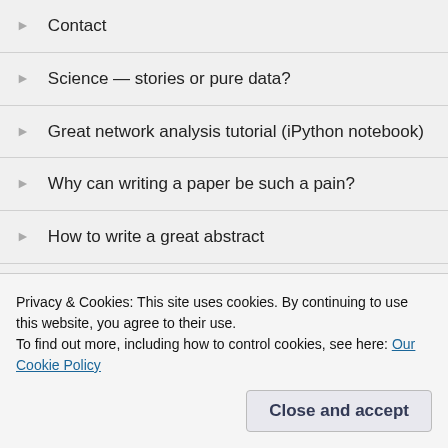Contact
Science — stories or pure data?
Great network analysis tutorial (iPython notebook)
Why can writing a paper be such a pain?
How to write a great abstract
ARCHIVES
Privacy & Cookies: This site uses cookies. By continuing to use this website, you agree to their use.
To find out more, including how to control cookies, see here: Our Cookie Policy
Close and accept